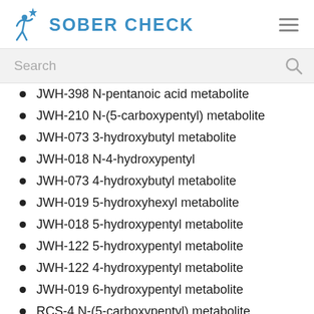SOBER CHECK
JWH-398 N-pentanoic acid metabolite
JWH-210 N-(5-carboxypentyl) metabolite
JWH-073 3-hydroxybutyl metabolite
JWH-018 N-4-hydroxypentyl
JWH-073 4-hydroxybutyl metabolite
JWH-019 5-hydroxyhexyl metabolite
JWH-018 5-hydroxypentyl metabolite
JWH-122 5-hydroxypentyl metabolite
JWH-122 4-hydroxypentyl metabolite
JWH-019 6-hydroxypentyl metabolite
RCS-4 N-(5-carboxypentyl) metabolite
Trifluoperazine dihydrochloride
Trifluoperazine hydrochloride